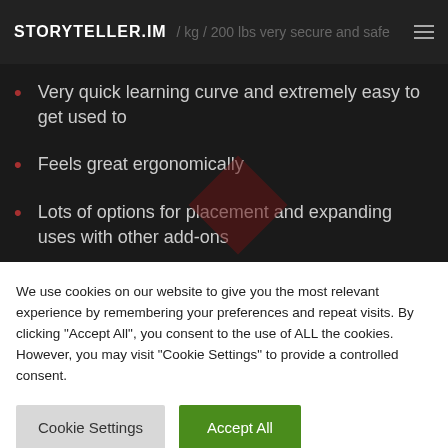STORYTELLER.IM / kg / 200 lbs very secure and safe
Very quick learning curve and extremely easy to get used to
Feels great ergonomically
Lots of options for placement and expanding uses with other add-ons
We use cookies on our website to give you the most relevant experience by remembering your preferences and repeat visits. By clicking "Accept All", you consent to the use of ALL the cookies. However, you may visit "Cookie Settings" to provide a controlled consent.
Cookie Settings | Accept All